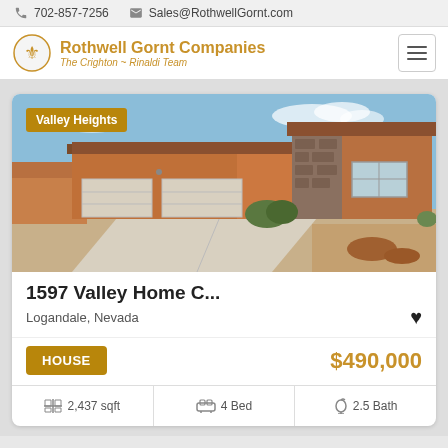702-857-7256   Sales@RothwellGornt.com
Rothwell Gornt Companies — The Crighton ~ Rinaldi Team
[Figure (photo): Exterior photo of a single-story stucco home with two-car garage, desert landscaping, and blue sky. Neighborhood badge reads 'Valley Heights'.]
1597 Valley Home C...
Logandale, Nevada
HOUSE   $490,000
2,437 sqft   4 Bed   2.5 Bath